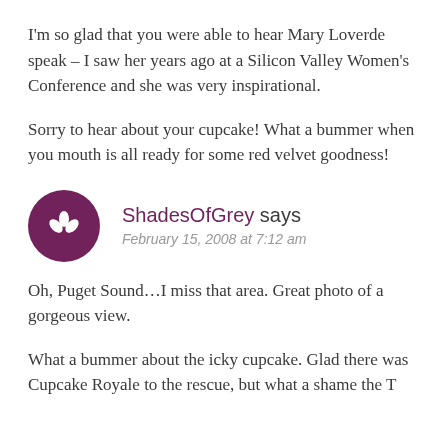I'm so glad that you were able to hear Mary Loverde speak – I saw her years ago at a Silicon Valley Women's Conference and she was very inspirational.
Sorry to hear about your cupcake! What a bummer when you mouth is all ready for some red velvet goodness!
ShadesOfGrey says
February 15, 2008 at 7:12 am
Oh, Puget Sound...I miss that area. Great photo of a gorgeous view.
What a bummer about the icky cupcake. Glad there was Cupcake Royale to the rescue, but what a shame the T...